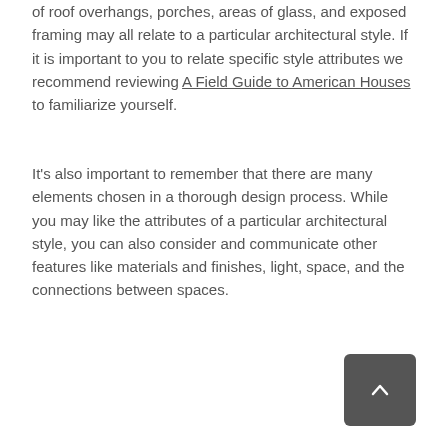of roof overhangs, porches, areas of glass, and exposed framing may all relate to a particular architectural style. If it is important to you to relate specific style attributes we recommend reviewing A Field Guide to American Houses to familiarize yourself.
It's also important to remember that there are many elements chosen in a thorough design process. While you may like the attributes of a particular architectural style, you can also consider and communicate other features like materials and finishes, light, space, and the connections between spaces.